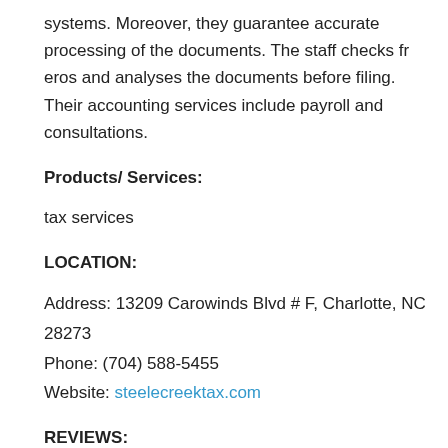systems. Moreover, they guarantee accurate processing of the documents. The staff checks fr eros and analyses the documents before filing. Their accounting services include payroll and consultations.
Products/ Services:
tax services
LOCATION:
Address: 13209 Carowinds Blvd # F, Charlotte, NC 28273
Phone: (704) 588-5455
Website: steelecreektax.com
REVIEWS: